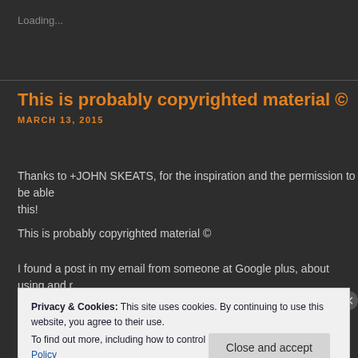Loading...
This is probably copyrighted material ©
MARCH 13, 2015
Thanks to +JOHN SKEATS, for the inspiration and the permission to be able this!
This is probably copyrighted material ©
I found a post in my email from someone at Google plus, about using and r posts. There is always a copyright problem. It used to be, a copyrighted art
Privacy & Cookies: This site uses cookies. By continuing to use this website, you agree to their use.
To find out more, including how to control cookies, see here: Cookie Policy
Close and accept